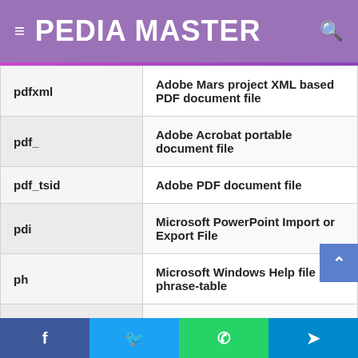PEDIA MASTER
| Extension | Description |
| --- | --- |
| pdfxml | Adobe Mars project XML based PDF document file |
| pdf_ | Adobe Acrobat portable document file |
| pdf_tsid | Adobe PDF document file |
| pdi | Microsoft PowerPoint Import or Export File |
| ph | Microsoft Windows Help file phrase-table |
| ply | MiDi PoWeR playlist file |
| pmy | Adobe PageMaker document file |
Facebook | Twitter | WhatsApp | Telegram